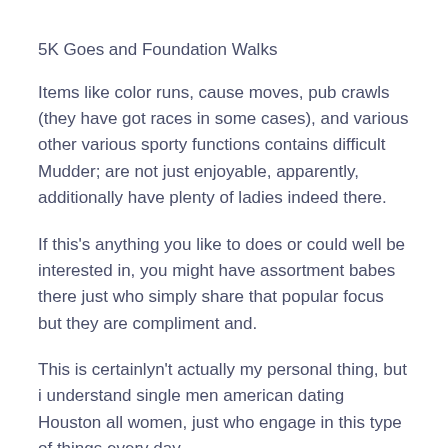5K Goes and Foundation Walks
Items like color runs, cause moves, pub crawls (they have got races in some cases), and various other various sporty functions contains difficult Mudder; are not just enjoyable, apparently, additionally have plenty of ladies indeed there.
If this’s anything you like to does or could well be interested in, you might have assortment babes there just who simply share that popular focus but they are compliment and.
This is certainlyn’t actually my personal thing, but i understand single men american dating Houston all women, just who engage in this type of things every day.
Gyms/Exercise Lessons